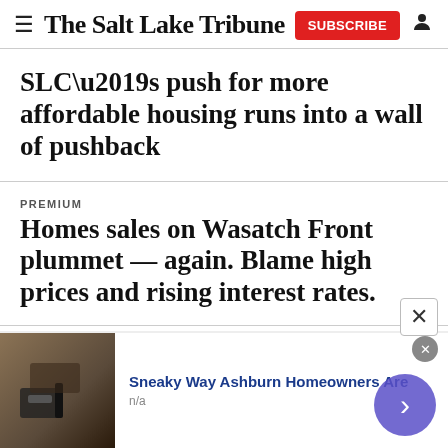The Salt Lake Tribune
SLC’s push for more affordable housing runs into a wall of pushback
PREMIUM
Homes sales on Wasatch Front plummet — again. Blame high prices and rising interest rates.
‘A housing crisis every day’ — Despite all the new apartments, rising rents are crushing many Utahns
Sneaky Way Ashburn Homeowners Are
n/a